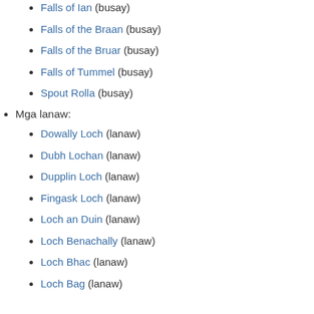Falls of Ian (busay)
Falls of the Braan (busay)
Falls of the Bruar (busay)
Falls of Tummel (busay)
Spout Rolla (busay)
Mga lanaw:
Dowally Loch (lanaw)
Dubh Lochan (lanaw)
Dupplin Loch (lanaw)
Fingask Loch (lanaw)
Loch an Duin (lanaw)
Loch Benachally (lanaw)
Loch Bhac (lanaw)
Loch Bag (lanaw)